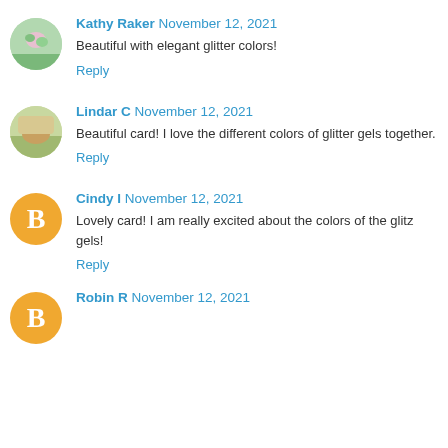Kathy Raker November 12, 2021
Beautiful with elegant glitter colors!
Reply
Lindar C November 12, 2021
Beautiful card! I love the different colors of glitter gels together.
Reply
Cindy I November 12, 2021
Lovely card! I am really excited about the colors of the glitz gels!
Reply
Robin R November 12, 2021